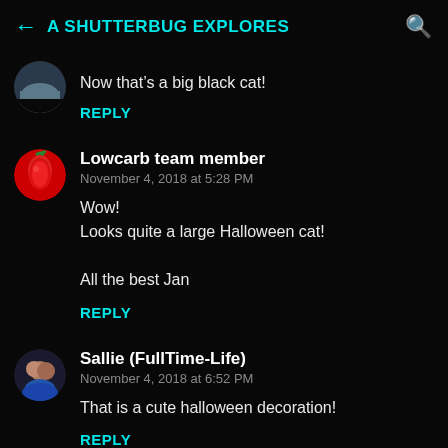A SHUTTERBUG EXPLORES
Now that’s a big black cat!
REPLY
Lowcarb team member
November 4, 2018 at 5:28 PM
Wow!
Looks quite a large Halloween cat!

All the best Jan
REPLY
Sallie (FullTime-Life)
November 4, 2018 at 6:52 PM
That is a cute halloween decoration!
REPLY